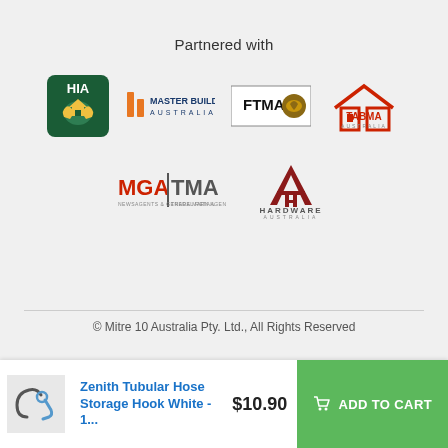Partnered with
[Figure (logo): HIA logo - green square with hands and text HIA]
[Figure (logo): Master Builders Australia logo - orange bars and text]
[Figure (logo): FTMA Australia logo - black rectangle with gold logo]
[Figure (logo): TABMA Australia logo - red house outline with TABMA text]
[Figure (logo): MGA TMA logo - red and grey text]
[Figure (logo): Hardware Australia logo - dark red A with text]
© Mitre 10 Australia Pty. Ltd., All Rights Reserved
Zenith Tubular Hose Storage Hook White - 1...
$10.90
ADD TO CART